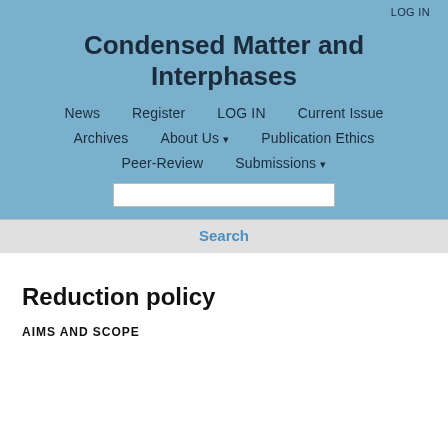LOG IN
Condensed Matter and Interphases
News   Register   LOG IN   Current Issue
Archives   About Us ▾   Publication Ethics
Peer-Review   Submissions ▾
Reduction policy
AIMS AND SCOPE